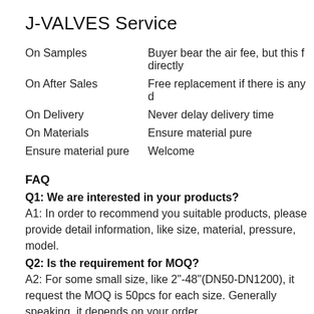J-VALVES Service
|  |  |
| --- | --- |
| On Samples | Buyer bear the air fee, but this f directly |
| On After Sales | Free replacement if there is any d |
| On Delivery | Never delay delivery time |
| On Materials | Ensure material pure |
| Ensure material pure | Welcome |
FAQ
Q1: We are interested in your products?
A1: In order to recommend you suitable products, please provide detail information, like size, material, pressure, model.
Q2: Is the requirement for MOQ?
A2: For some small size, like 2"-48"(DN50-DN1200), it request the MOQ is 50pcs for each size. Generally speaking, it depends on your order.
Q3: How about the warranty?
A3: The warranty time is 18 months after leaving our